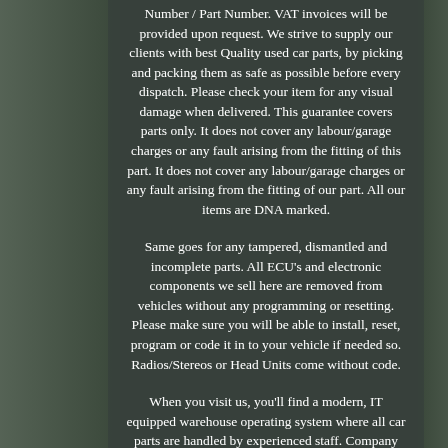Number / Part Number. VAT invoices will be provided upon request. We strive to supply our clients with best Quality used car parts, by picking and packing them as safe as possible before every dispatch. Please check your item for any visual damage when delivered. This guarantee covers parts only. It does not cover any labour/garage charges or any fault arising from the fitting of this part. It does not cover any labour/garage charges or any fault arising from the fitting of our part. All our items are DNA marked.
Same goes for any tampered, dismantled and incomplete parts. All ECU's and electronic components we sell here are removed from vehicles without any programming or resetting. Please make sure you will be able to install, reset, program or code it in to your vehicle if needed so. Radios/Stereos or Head Units come without code.
When you visit us, you'll find a modern, IT equipped warehouse operating system where all car parts are handled by experienced staff. Company has high reputation for both quality and service and believes itself to become the market leader in vehicle recycling industry known from West Midlands to UK and Global markets. Our team is proud to be a member of the V